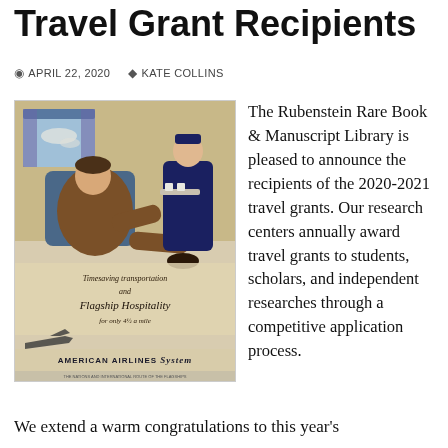Travel Grant Recipients
APRIL 22, 2020   KATE COLLINS
[Figure (illustration): Vintage American Airlines advertisement showing a man in a suit relaxing in an airplane seat and a stewardess in uniform holding a tray. Text reads: Timesaving transportation and Flagship Hospitality for only 4½ a mile. American Airlines System.]
The Rubenstein Rare Book & Manuscript Library is pleased to announce the recipients of the 2020-2021 travel grants. Our research centers annually award travel grants to students, scholars, and independent researches through a competitive application process.
We extend a warm congratulations to this year's